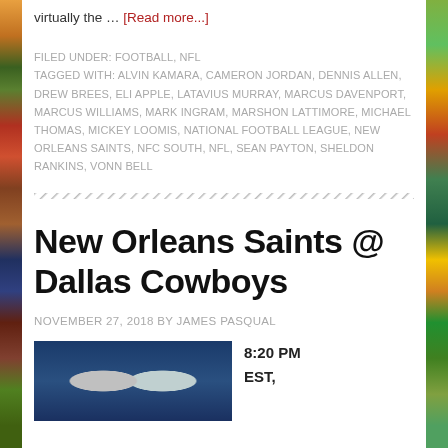virtually the … [Read more...]
FILED UNDER: FOOTBALL, NFL
TAGGED WITH: ALVIN KAMARA, CAMERON JORDAN, DENNIS ALLEN, DREW BREES, ELI APPLE, LATAVIUS MURRAY, MARCUS DAVENPORT, MARCUS WILLIAMS, MARK INGRAM, MARSHON LATTIMORE, MICHAEL THOMAS, MICKEY LOOMIS, NATIONAL FOOTBALL LEAGUE, NEW ORLEANS SAINTS, NFC SOUTH, NFL, SEAN PAYTON, SHELDON RANKINS, VONN BELL
New Orleans Saints @ Dallas Cowboys
NOVEMBER 27, 2018 BY JAMES PASQUAL
[Figure (photo): Football players in helmets from New Orleans Saints and Dallas Cowboys]
8:20 PM EST,